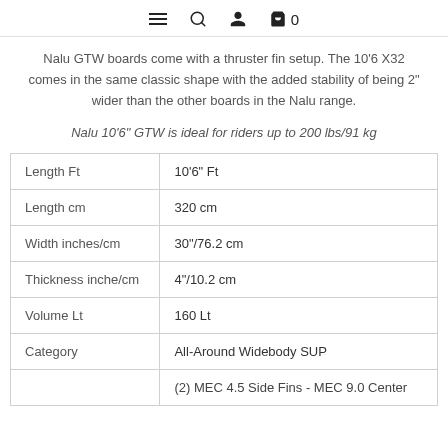Menu | Search | Account | Cart 0
Nalu GTW boards come with a thruster fin setup. The 10'6 X32 comes in the same classic shape with the added stability of being 2" wider than the other boards in the Nalu range.
Nalu 10'6" GTW is ideal for riders up to 200 lbs/91 kg
| Length Ft | 10'6" Ft |
| Length cm | 320 cm |
| Width inches/cm | 30"/76.2 cm |
| Thickness inche/cm | 4"/10.2 cm |
| Volume Lt | 160 Lt |
| Category | All-Around Widebody SUP |
|  | (2) MEC 4.5 Side Fins - MEC 9.0 Center |